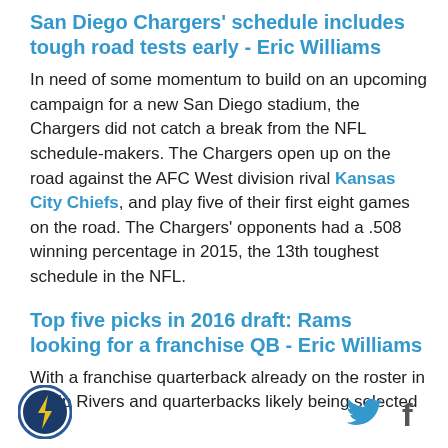San Diego Chargers' schedule includes tough road tests early - Eric Williams
In need of some momentum to build on an upcoming campaign for a new San Diego stadium, the Chargers did not catch a break from the NFL schedule-makers. The Chargers open up on the road against the AFC West division rival Kansas City Chiefs, and play five of their first eight games on the road. The Chargers' opponents had a .508 winning percentage in 2015, the 13th toughest schedule in the NFL.
Top five picks in 2016 draft: Rams looking for a franchise QB - Eric Williams
With a franchise quarterback already on the roster in Philip Rivers and quarterbacks likely being selected
[Figure (logo): Circular team logo with bolt symbol]
[Figure (other): Twitter bird icon and Facebook f icon]